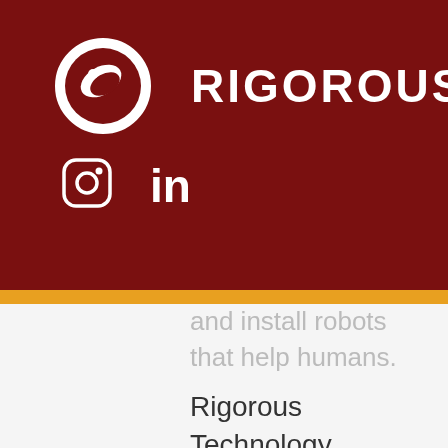RIGOROUS
and install robots that help humans. Rigorous Technology develops manipulation and control software, continually building upon our RGS software library.
Rigorous is a startup, this role will be a leader coming in on the ground floor. We have two and a half years of consistent growth, doubling revenue each year and developing the foundation of our library of technology. As we grow, we are moving towards remote diagnostics, maintenance, and